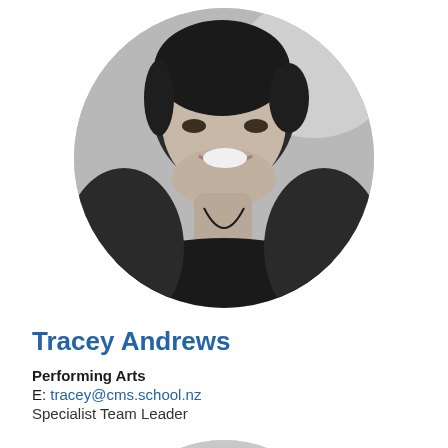[Figure (photo): Circular black and white portrait photo of Tracey Andrews, a woman smiling, wearing a dark top and necklace]
Tracey Andrews
Performing Arts
E: tracey@cms.school.nz
Specialist Team Leader
[Figure (photo): Partial circular black and white portrait photo of a second person, partially visible at the bottom of the page]